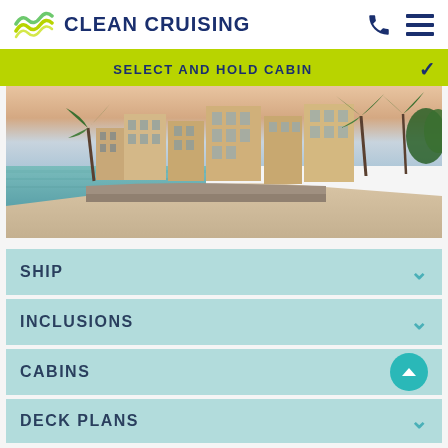CLEAN CRUISING
SELECT AND HOLD CABIN
[Figure (photo): Coastal cityscape with historic buildings, palm trees, and waterfront at sunset/dusk with calm reflective water and sandy beach in foreground]
SHIP
INCLUSIONS
CABINS
DECK PLANS